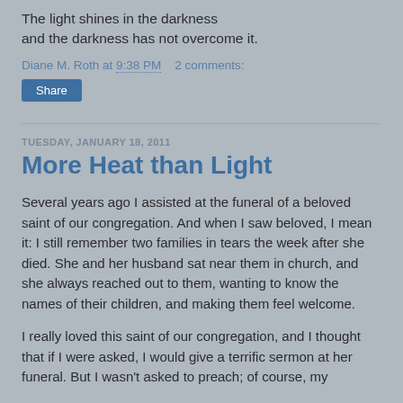The light shines in the darkness and the darkness has not overcome it.
Diane M. Roth at 9:38 PM   2 comments:
Share
TUESDAY, JANUARY 18, 2011
More Heat than Light
Several years ago I assisted at the funeral of a beloved saint of our congregation.  And when I saw beloved, I mean it:  I still remember two families in tears the week after she died.  She and her husband sat near them in church, and she always reached out to them, wanting to know the names of their children, and making them feel welcome.
I really loved this saint of our congregation, and I thought that if I were asked, I would give a terrific sermon at her funeral.  But I wasn't asked to preach; of course, my